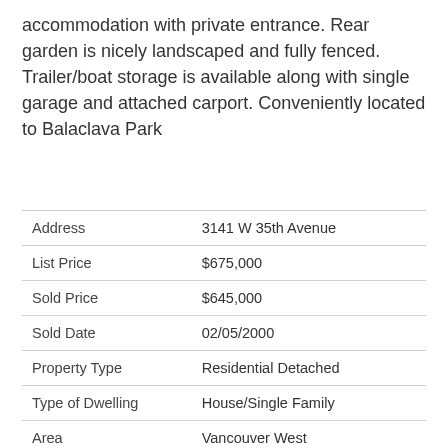accommodation with private entrance. Rear garden is nicely landscaped and fully fenced. Trailer/boat storage is available along with single garage and attached carport. Conveniently located to Balaclava Park
| Address | 3141 W 35th Avenue |
| List Price | $675,000 |
| Sold Price | $645,000 |
| Sold Date | 02/05/2000 |
| Property Type | Residential Detached |
| Type of Dwelling | House/Single Family |
| Area | Vancouver West |
| Sub-Area | MacKenzie Heights |